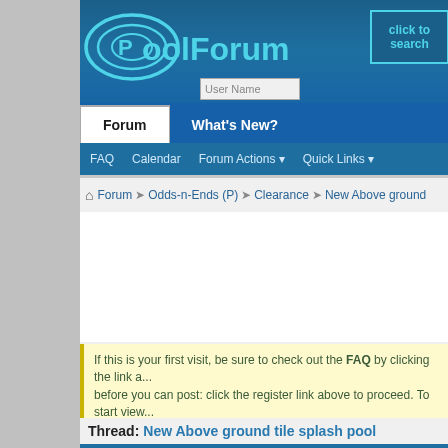[Figure (screenshot): PoolForum website header with logo, search button, login fields, navigation tabs (Forum, What's New?), and menu bar (FAQ, Calendar, Forum Actions, Quick Links)]
Forum  What's New?
FAQ  Calendar  Forum Actions ▼  Quick Links ▼
⌂ Forum ➤ Odds-n-Ends (P) ➤ Clearance ➤ New Above ground
If this is your first visit, be sure to check out the FAQ by clicking the link a... before you can post: click the register link above to proceed. To start view... you want to visit from the selection below.
Thread: New Above ground tile splash pool
07-22-2018   11:06 AM